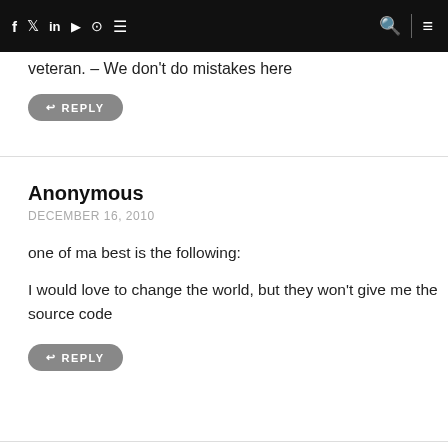f  in  YouTube  Instagram  RSS  [search]  [menu]
veteran. – We don't do mistakes here
↩ REPLY
Anonymous
DECEMBER 16, 2010
one of ma best is the following:
I would love to change the world, but they won't give me the source code
↩ REPLY